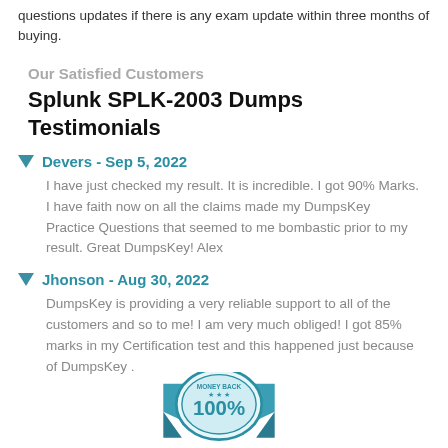questions updates if there is any exam update within three months of buying.
Our Satisfied Customers
Splunk SPLK-2003 Dumps Testimonials
Devers - Sep 5, 2022
I have just checked my result. It is incredible. I got 90% Marks. I have faith now on all the claims made my DumpsKey Practice Questions that seemed to me bombastic prior to my result. Great DumpsKey! Alex
Jhonson - Aug 30, 2022
DumpsKey is providing a very reliable support to all of the customers and so to me! I am very much obliged! I got 85% marks in my Certification test and this happened just because of DumpsKey .
[Figure (illustration): Money Back 100% guarantee badge/seal at the bottom of the page]